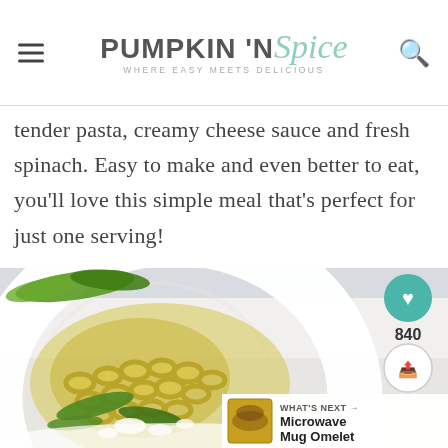PUMPKIN 'N Spice — WHERE EASY MEETS DELICIOUS
tender pasta, creamy cheese sauce and fresh spinach. Easy to make and even better to eat, you'll love this simple meal that's perfect for just one serving!
[Figure (photo): A white bowl of macaroni and cheese with fresh spinach leaves and white cheese crumbles, photographed from above on a white background. A food blog sidebar shows a heart/save button with count 840 and a share button. A 'What's Next' bar at bottom right shows Microwave Mug Omelet.]